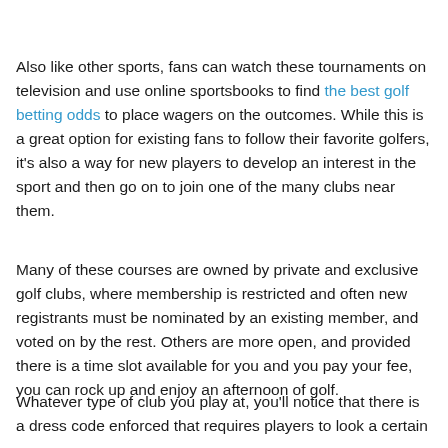Also like other sports, fans can watch these tournaments on television and use online sportsbooks to find the best golf betting odds to place wagers on the outcomes. While this is a great option for existing fans to follow their favorite golfers, it's also a way for new players to develop an interest in the sport and then go on to join one of the many clubs near them.
Many of these courses are owned by private and exclusive golf clubs, where membership is restricted and often new registrants must be nominated by an existing member, and voted on by the rest. Others are more open, and provided there is a time slot available for you and you pay your fee, you can rock up and enjoy an afternoon of golf.
Whatever type of club you play at, you'll notice that there is a dress code enforced that requires players to look a certain